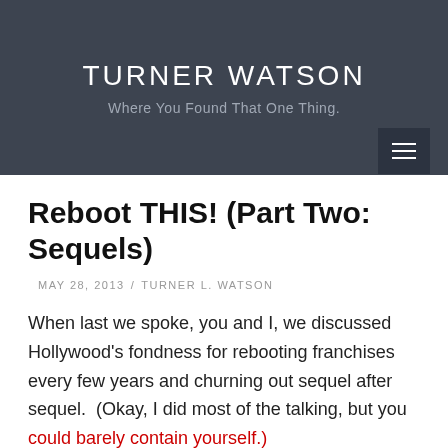TURNER WATSON
Where You Found That One Thing.
Reboot THIS! (Part Two: Sequels)
MAY 28, 2013 / TURNER L. WATSON
When last we spoke, you and I, we discussed Hollywood's fondness for rebooting franchises every few years and churning out sequel after sequel. (Okay, I did most of the talking, but you could barely contain yourself.)